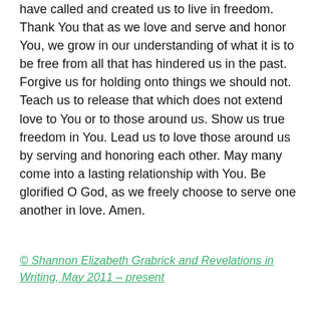have called and created us to live in freedom. Thank You that as we love and serve and honor You, we grow in our understanding of what it is to be free from all that has hindered us in the past. Forgive us for holding onto things we should not. Teach us to release that which does not extend love to You or to those around us. Show us true freedom in You. Lead us to love those around us by serving and honoring each other. May many come into a lasting relationship with You. Be glorified O God, as we freely choose to serve one another in love. Amen.
© Shannon Elizabeth Grabrick and Revelations in Writing, May 2011 – present